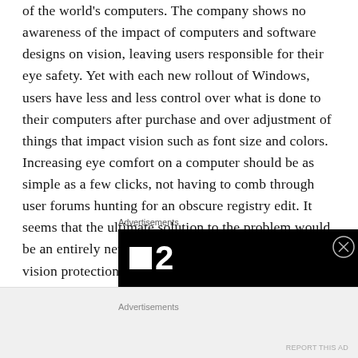of the world's computers. The company shows no awareness of the impact of computers and software designs on vision, leaving users responsible for their eye safety. Yet with each new rollout of Windows, users have less and less control over what is done to their computers after purchase and over adjustment of things that impact vision such as font size and colors. Increasing eye comfort on a computer should be as simple as a few clicks, not having to comb through user forums hunting for an obscure registry edit. It seems that the ultimate solution to the problem would be an entirely new operating system that prioritizes vision protection.
[Figure (other): Advertisement banner with black background showing a logo with a white square and the number 2, resembling a TV channel logo (like H2 or similar).]
Advertisements
Advertisements